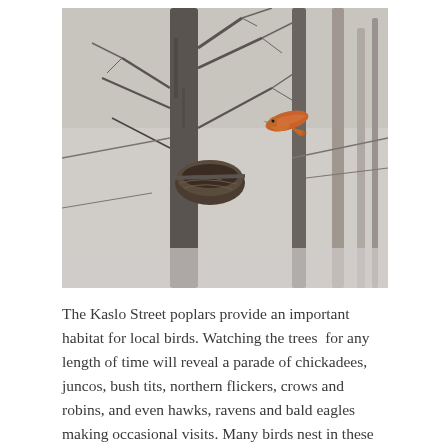[Figure (photo): A bird (northern flicker with reddish-orange coloring) perched or flying among bare winter tree branches and a large nest visible near a tree trunk. Background shows blurred winter forest scene with snow.]
The Kaslo Street poplars provide an important habitat for local birds. Watching the trees  for any length of time will reveal a parade of chickadees, juncos, bush tits, northern flickers, crows and robins, and even hawks, ravens and bald eagles making occasional visits. Many birds nest in these trees in the spring time, making use of the security from ground-predators provided by their